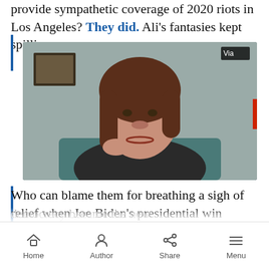provide sympathetic coverage of 2020 riots in Los Angeles? They did. Ali's fantasies kept spilling:
[Figure (screenshot): Video screenshot of a woman with long brown hair speaking, seated in front of a gray wall with a framed picture behind her. A 'Via' badge is visible in the upper right corner.]
Who can blame them for breathing a sigh of relief when Joe Biden's presidential win promised them a respite of politics as usual. So
Home  Author  Share  Menu